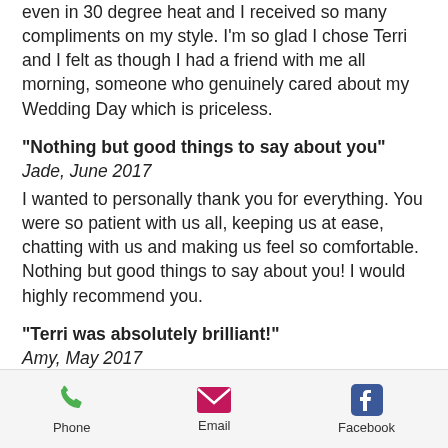even in 30 degree heat and I received so many compliments on my style. I'm so glad I chose Terri and I felt as though I had a friend with me all morning, someone who genuinely cared about my Wedding Day which is priceless.
"Nothing but good things to say about you"
Jade, June 2017
I wanted to personally thank you for everything. You were so patient with us all, keeping us at ease, chatting with us and making us feel so comfortable. Nothing but good things to say about you! I would highly recommend you.
"Terri was absolutely brilliant!"
Amy, May 2017
[Figure (infographic): Mobile app footer bar with Phone, Email, and Facebook icons and labels]